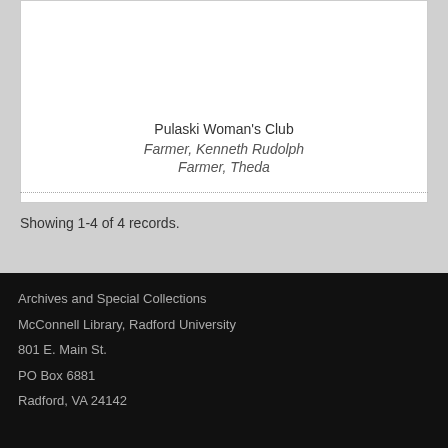Pulaski Woman's Club
Farmer, Kenneth Rudolph
Farmer, Theda
Showing 1-4 of 4 records.
Archives and Special Collections
McConnell Library, Radford University
801 E. Main St.
PO Box 6881
Radford, VA 24142